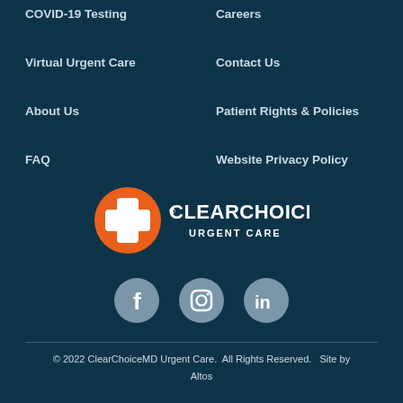COVID-19 Testing
Careers
Virtual Urgent Care
Contact Us
About Us
Patient Rights & Policies
FAQ
Website Privacy Policy
[Figure (logo): ClearChoiceMD Urgent Care logo with orange cross icon and white text]
[Figure (infographic): Social media icons: Facebook, Instagram, LinkedIn in grey circles]
© 2022 ClearChoiceMD Urgent Care.  All Rights Reserved.   Site by Altos